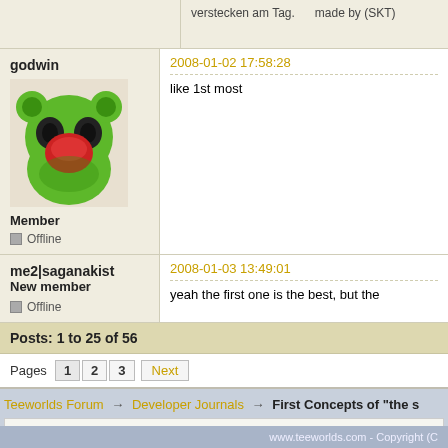verstecken am Tag.    made by (SKT)
godwin
2008-01-02 17:58:28
[Figure (illustration): Green cartoon frog/bear avatar with black eyes and red mouth]
Member
Offline
like 1st most
me2|saganakist
New member
2008-01-03 13:49:01
Offline
yeah the first one is the best, but the
Posts: 1 to 25 of 56
Pages   1   2   3   Next
Teeworlds Forum → Developer Journals → First Concepts of "the s
Developer Journals   Go
Currently installed 3 official extensions. Copyright © 2003–2009 PunBB.
www.teeworlds.com - Copyright (C